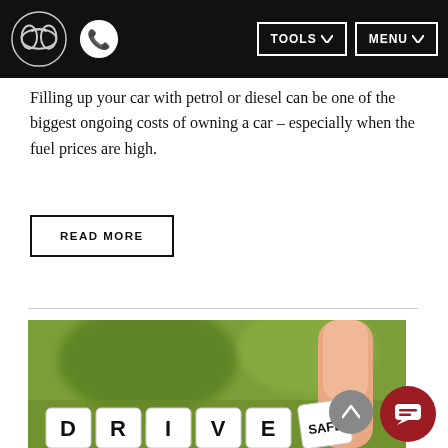Mazda navigation bar with logo, phone, TOOLS and MENU buttons
Filling up your car with petrol or diesel can be one of the biggest ongoing costs of owning a car – especially when the fuel prices are high.
READ MORE
[Figure (photo): Photograph showing letter dice spelling DRIVE SAFE on a blurred green and finger background]